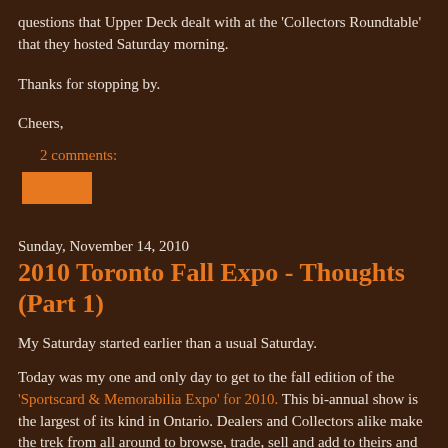questions that Upper Deck dealt with at the 'Collectors Roundtable' that they hosted Saturday morning.
Thanks for stopping by.
Cheers,
2 comments:
[Figure (other): Orange rectangular button/image element]
Sunday, November 14, 2010
2010 Toronto Fall Expo - Thoughts (Part 1)
My Saturday started earlier than a usual Saturday.
Today was my one and only day to get to the fall edition of the 'Sportscard & Memorabilia Expo' for 2010. This bi-annual show is the largest of its kind in Ontario. Dealers and Collectors alike make the trek from all around to browse, trade, sell and add to theirs and countless others collections